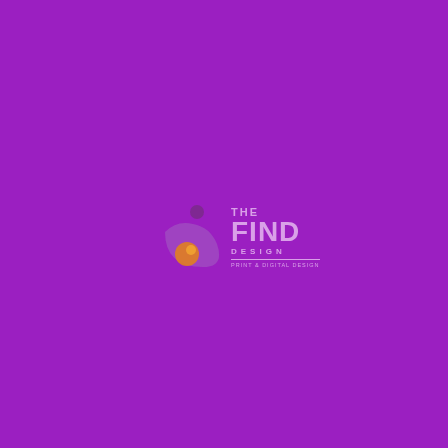[Figure (logo): The Find Design logo: a stylized figure/person icon in purple and orange on the left, with text on the right reading 'THE' in small caps, 'FIND' in large bold letters, 'DESIGN' in spaced small caps, a horizontal rule, and a small tagline beneath. All rendered in muted purple/lavender tones against a bright purple background.]